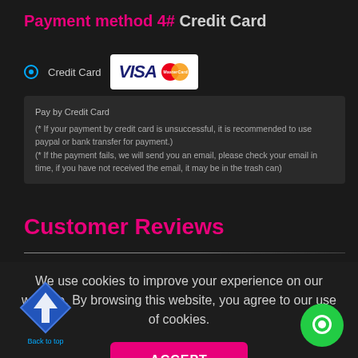Payment method 4# Credit Card
Credit Card  [VISA / MasterCard]
Pay by Credit Card
(* If your payment by credit card is unsuccessful, it is recommended to use paypal or bank transfer for payment.)
(* If the payment fails, we will send you an email, please check your email in time, if you have not received the email, it may be in the trash can)
Customer Reviews
We use cookies to improve your experience on our website. By browsing this website, you agree to our use of cookies.
[Figure (other): Back to top diamond arrow icon]
[Figure (other): Green chat/message bubble icon]